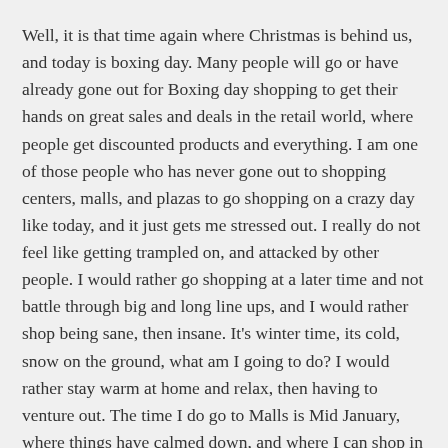Well, it is that time again where Christmas is behind us, and today is boxing day. Many people will go or have already gone out for Boxing day shopping to get their hands on great sales and deals in the retail world, where people get discounted products and everything. I am one of those people who has never gone out to shopping centers, malls, and plazas to go shopping on a crazy day like today, and it just gets me stressed out. I really do not feel like getting trampled on, and attacked by other people. I would rather go shopping at a later time and not battle through big and long line ups, and I would rather shop being sane, then insane. It's winter time, its cold, snow on the ground, what am I going to do? I would rather stay warm at home and relax, then having to venture out. The time I do go to Malls is Mid January, where things have calmed down, and where I can shop in peace.